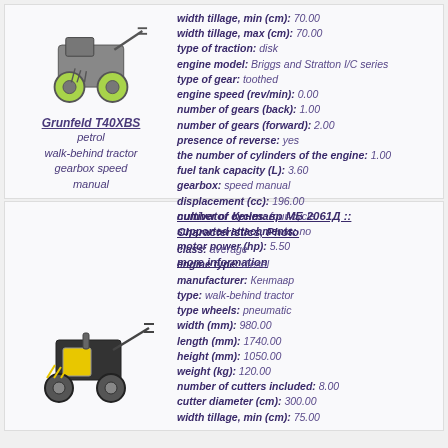[Figure (photo): Grunfeld T40XBS walk-behind tractor, green wheels, grey body]
Grunfeld T40XBS
petrol
walk-behind tractor
gearbox speed
manual
width tillage, min (cm): 70.00
width tillage, max (cm): 70.00
type of traction: disk
engine model: Briggs and Stratton I/C series
type of gear: toothed
engine speed (rev/min): 0.00
number of gears (back): 1.00
number of gears (forward): 2.00
presence of reverse: yes
the number of cylinders of the engine: 1.00
fuel tank capacity (L): 3.60
gearbox: speed manual
displacement (cc): 196.00
number of cycles: four-cycle
supported attachments: no
motor power (hp): 5.50
more information
[Figure (photo): Кентавр МБ 2061Д walk-behind tractor, yellow and black, diesel]
cultivator Кентавр МБ 2061Д :: Characteristics, Photo
class: average
engine type: diesel
manufacturer: Кентавр
type: walk-behind tractor
type wheels: pneumatic
width (mm): 980.00
length (mm): 1740.00
height (mm): 1050.00
weight (kg): 120.00
number of cutters included: 8.00
cutter diameter (cm): 300.00
width tillage, min (cm): 75.00